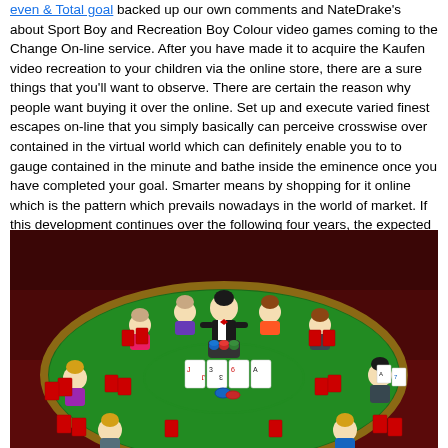even & Total goal backed up our own comments and NateDrake's about Sport Boy and Recreation Boy Colour video games coming to the Change On-line service. After you have made it to acquire the Kaufen video recreation to your children via the online store, there are a sure things that you'll want to observe. There are certain the reason why people want buying it over the online. Set up and execute varied finest escapes on-line that you simply basically can perceive crosswise over contained in the virtual world which can definitely enable you to to gauge contained in the minute and bathe inside the eminence once you have completed your goal. Smarter means by shopping for it online which is the pattern which prevails nowadays in the world of market. If this development continues over the following four years, the expected income will probably be $7.2 billion yearly, which will contribute to a 68.6% of the net earnings.
[Figure (illustration): A cartoon/animated illustration of a poker table scene with a dealer in a tuxedo standing behind a green oval table, several female players seated around the table, playing cards and poker chips visible on the table surface.]